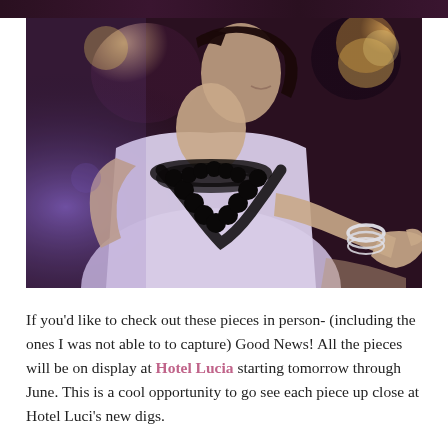[Figure (photo): A woman wearing a white dress and a large dark beaded necklace, with silver bangles on her wrist, photographed in a dimly lit venue with purple and warm lighting in the background.]
If you'd like to check out these pieces in person- (including the ones I was not able to to capture) Good News! All the pieces will be on display at Hotel Lucia starting tomorrow through June. This is a cool opportunity to go see each piece up close at Hotel Luci's new digs.